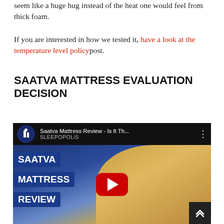seem like a huge hug instead of the heat one would feel from thick foam.
If you are interested in how we tested it, have a look at the temperature level policy post.
SAATVA MATTRESS EVALUATION DECISION
[Figure (screenshot): YouTube video thumbnail for 'Saatva Mattress Review - Is It Th...' by Sleepopolis channel, showing a man smiling with overlaid text banners reading SAATVA MATTRESS REVIEW and a red YouTube play button in the center.]